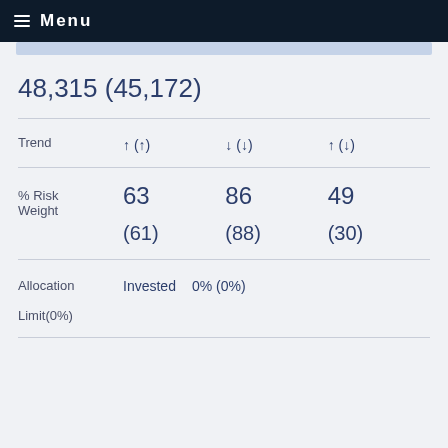Menu
48,315 (45,172)
|  | Col1 | Col2 | Col3 |
| --- | --- | --- | --- |
| Trend | ↑ (↑) | ↓ (↓) | ↑ (↓) |
| % Risk Weight | 63
(61) | 86
(88) | 49
(30) |
| Allocation Limit(0%) | Invested | 0% (0%) |  |